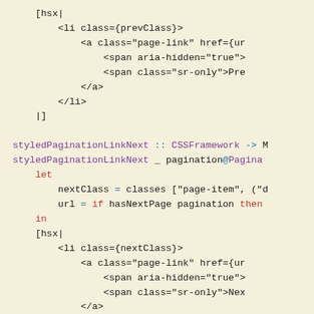[hsx|
    <li class={prevClass}>
        <a class="page-link" href={u
            <span aria-hidden="true"
            <span class="sr-only">Pr
        </a>
    </li>
|]

styledPaginationLinkNext :: CSSFramework -> M
styledPaginationLinkNext _ pagination@Pagina
    let
        nextClass = classes ["page-item", ("d
        url = if hasNextPage pagination then
    in
    [hsx|
        <li class={nextClass}>
            <a class="page-link" href={u
                <span aria-hidden="true"
                <span class="sr-only">Nex
            </a>
        </li>
    |]

styledBreadcrumb :: CSSFramework -> [Breadcru
styledBreadcrumb _ _ breadcrumbsView = [hsx|
    <nav>
        <ol class="breadcrumb">
            {get #breadcrumbItems breadcrumbs